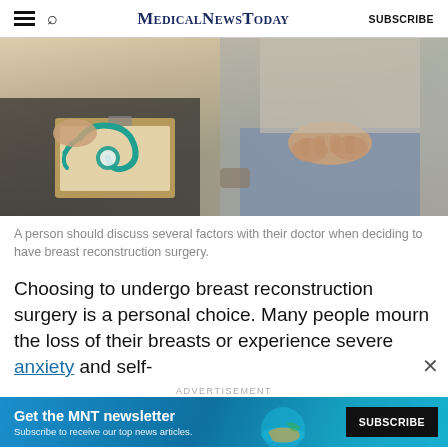MedicalNewsToday  SUBSCRIBE
[Figure (photo): Close-up of a doctor holding a clipboard with a stethoscope and a patient with hands clasped, sitting across from each other in a clinical setting.]
A person should discuss several factors with their doctor when deciding to have breast reconstruction surgery.
Choosing to undergo breast reconstruction surgery is a personal choice. Many people mourn the loss of their breasts or experience severe anxiety and self-
ADVERTISEMENT
[Figure (screenshot): Advertisement banner: Get the MNT newsletter. Subscribe to receive our top news articles. SUBSCRIBE button.]